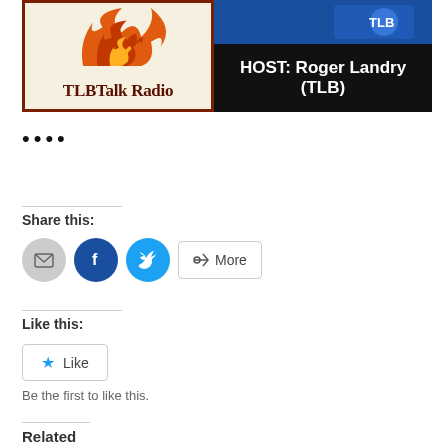[Figure (logo): TLBTalk Radio banner with phoenix/flame logo on left (cream background, dark red border) showing 'TLBTalk Radio', and right side split: top blue section, bottom black section with white text 'HOST: Roger Landry (TLB)']
••••
Share this:
[Figure (infographic): Row of share buttons: email (grey circle), Facebook (dark blue circle with f), Twitter (cyan circle with bird), and More button with share icon]
Like this:
[Figure (infographic): Like button with blue star icon and 'Like' text, bordered box]
Be the first to like this.
Related